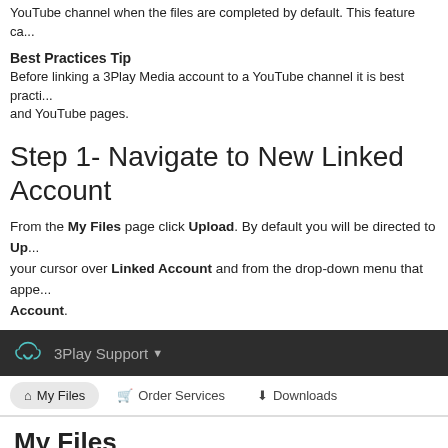YouTube channel when the files are completed by default. This feature ca...
Best Practices Tip
Before linking a 3Play Media account to a YouTube channel it is best practi... and YouTube pages.
Step 1- Navigate to New Linked Account
From the My Files page click Upload. By default you will be directed to Up... your cursor over Linked Account and from the drop-down menu that appe... Account.
[Figure (screenshot): Screenshot of 3Play Media web interface showing navigation bar with '3Play Support' label, menu bar with 'My Files', 'Order Services', 'Downloads' options, My Files content area with View dropdown set to 'Active Files' and 'Show Only Undownlo...' checkbox, and a FILTERS panel showing '150 Results' with a chevron icon and an Order button.]